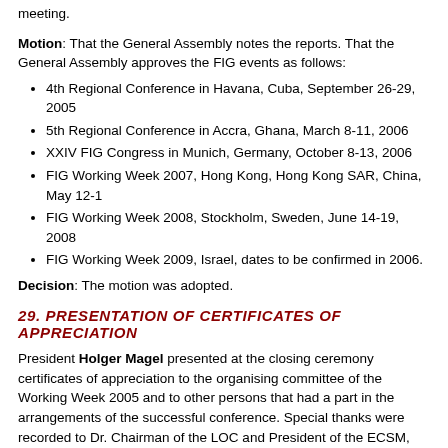meeting.
Motion: That the General Assembly notes the reports. That the General Assembly approves the FIG events as follows:
4th Regional Conference in Havana, Cuba, September 26-29, 2005
5th Regional Conference in Accra, Ghana, March 8-11, 2006
XXIV FIG Congress in Munich, Germany, October 8-13, 2006
FIG Working Week 2007, Hong Kong, Hong Kong SAR, China, May 12-1
FIG Working Week 2008, Stockholm, Sweden, June 14-19, 2008
FIG Working Week 2009, Israel, dates to be confirmed in 2006.
Decision: The motion was adopted.
29. PRESENTATION OF CERTIFICATES OF APPRECIATION
President Holger Magel presented at the closing ceremony certificates of appreciation to the organising committee of the Working Week 2005 and to other persons that had a part in the arrangements of the successful conference. Special thanks were recorded to Dr. Chairman of the LOC and President of the ECSM, Eng. M. Hisham Nasr, Chairman and Dr. Dalal Alnaggar, Conference Coordinator and to Eng. M. Mosaad Ibrahim Office as well as to the Egyptian Committee for Surveying and Mapping (ECSM)